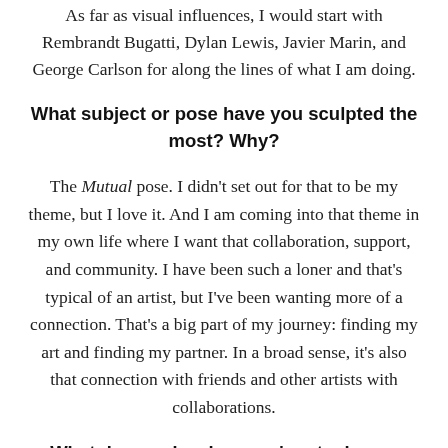As far as visual influences, I would start with Rembrandt Bugatti, Dylan Lewis, Javier Marin, and George Carlson for along the lines of what I am doing.
What subject or pose have you sculpted the most? Why?
The Mutual pose. I didn't set out for that to be my theme, but I love it. And I am coming into that theme in my own life where I want that collaboration, support, and community. I have been such a loner and that's typical of an artist, but I've been wanting more of a connection. That's a big part of my journey: finding my art and finding my partner. In a broad sense, it's also that connection with friends and other artists with collaborations.
What do you do when you're stuck on a piece?